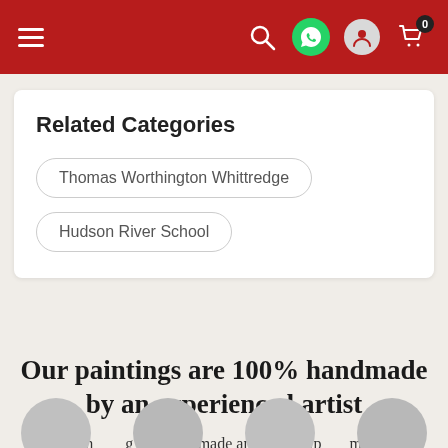Navigation bar with hamburger menu, search, WhatsApp, user, and cart icons
Related Categories
Thomas Worthington Whittredge
Hudson River School
Our paintings are 100% handmade by an experienced artist
Each [painting] is cust[om ]made an[d] [do]n't ship [until it] meets [your expectations]